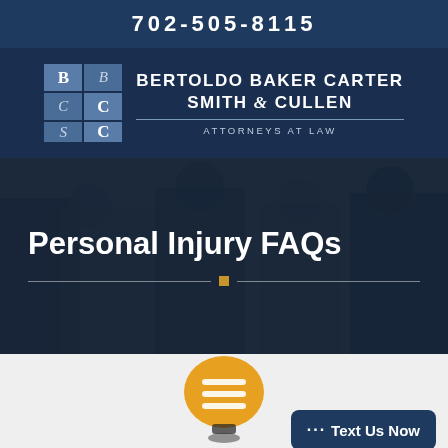702-505-8115
[Figure (logo): Bertoldo Baker Carter Smith & Cullen Attorneys at Law logo with letter-grid emblem]
Personal Injury FAQs
[Figure (illustration): Chat/message bubble icon in orange/yellow]
··· Text Us Now